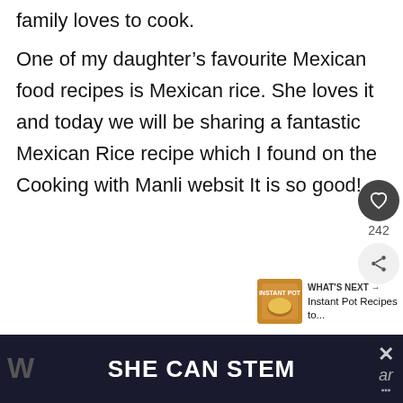family loves to cook.
One of my daughter’s favourite Mexican food recipes is Mexican rice. She loves it and today we will be sharing a fantastic Mexican Rice recipe which I found on the Cooking with Manli websit It is so good!
SHE CAN STEM